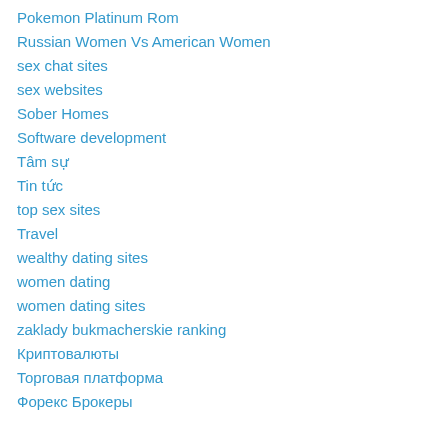Pokemon Platinum Rom
Russian Women Vs American Women
sex chat sites
sex websites
Sober Homes
Software development
Tâm sự
Tin tức
top sex sites
Travel
wealthy dating sites
women dating
women dating sites
zaklady bukmacherskie ranking
Криптовалюты
Торговая платформа
Форекс Брокеры